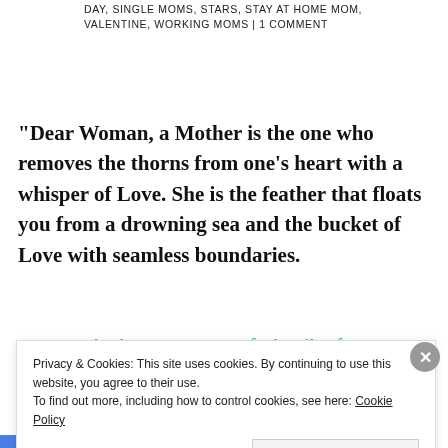DAY, SINGLE MOMS, STARS, STAY AT HOME MOM, VALENTINE, WORKING MOMS | 1 COMMENT
“Dear Woman, a Mother is the one who removes the thorns from one’s heart with a whisper of Love. She is the feather that floats you from a drowning sea and the bucket of Love with seamless boundaries.
At the moment you feel guilty for
Privacy & Cookies: This site uses cookies. By continuing to use this website, you agree to their use.
To find out more, including how to control cookies, see here: Cookie Policy
Close and accept